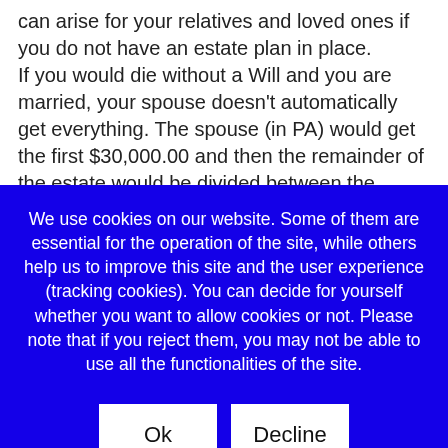can arise for your relatives and loved ones if you do not have an estate plan in place. If you would die without a Will and you are married, your spouse doesn't automatically get everything. The spouse (in PA) would get the first $30,000.00 and then the remainder of the estate would be divided between the spouse and your children or parents if there are no children or other relatives. For example, if your spouse and let's say, children from a previous marriage don't get along, that can
We use cookies on our website. Some of them are essential for the operation of the site, while others help us to improve this site and the user experience (tracking cookies). You can decide for yourself whether you want to allow cookies or not. Please note that if you reject them, you may not be able to use all the functionalities of the site.